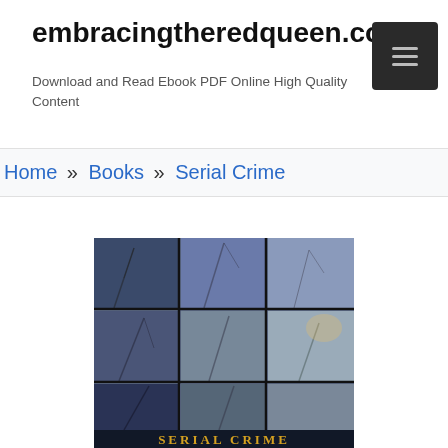embracingtheredqueen.com
Download and Read Ebook PDF Online High Quality Content
Home » Books » Serial Crime
[Figure (photo): Book cover for 'Serial Crime' showing a 3x3 grid of dark, moody winter tree photos with the title 'SERIAL CRIME' in gold letters at the bottom]